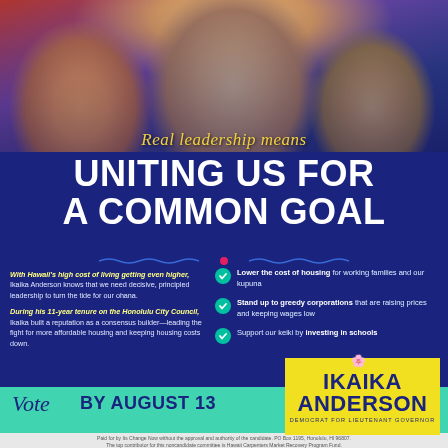[Figure (photo): Three smiling people, one wearing a floral lei, posed together outdoors with warm lighting]
Real leadership means UNITING US FOR A COMMON GOAL
With Hawaii's high cost of living getting even higher, Ikaika Anderson knows that we need decisive, principled leadership to turn the tide for our ohana.
During his 11-year tenure on the Honolulu City Council, Ikaika built a reputation as a consensus builder—leading the fight for more affordable housing and keeping housing costs down.
Lower the cost of housing for working families and our kupuna
Stand up to greedy corporations that are raising prices and keeping wages low
Support our keiki by investing in schools
Vote BY AUGUST 13
IKAIKA ANDERSON DEMOCRAT FOR LIEUTENANT GOVERNOR
Paid for by Its Change Now without the approval and authority of the candidate. PO Box 1195, Honolulu, HI 96807. The top contributor for this noncandidate committee is Hawaii Carpenters Market Recovery Program Fund.